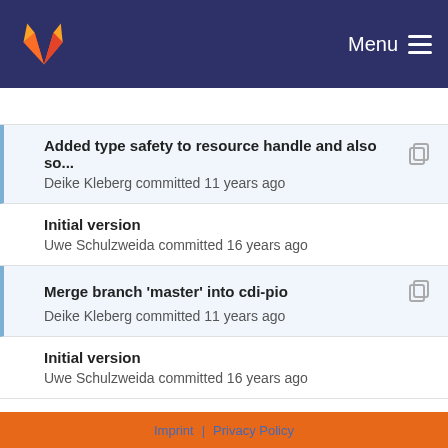GitLab — Menu
Added type safety to resource handle and also so...
Deike Kleberg committed 11 years ago
Initial version
Uwe Schulzweida committed 16 years ago
Merge branch 'master' into cdi-pio
Deike Kleberg committed 11 years ago
Initial version
Uwe Schulzweida committed 16 years ago
zaxis.c: mt safe version
Uwe Schulzweida committed 15 years ago
Initial version
Uwe Schulzweida committed 16 years ago
cdfInqContents: skip time variable with type = NC...
Uwe Schulzweida committed 14 years ago
Imprint | Privacy Policy